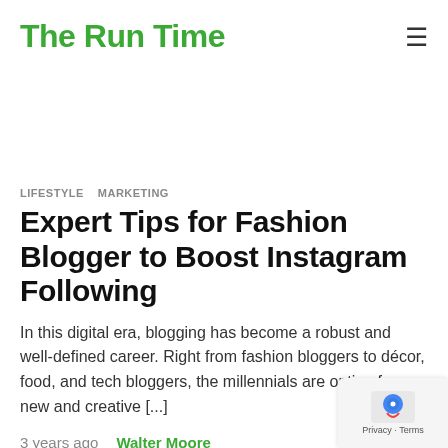The Run Time
LIFESTYLE   MARKETING
Expert Tips for Fashion Blogger to Boost Instagram Following
In this digital era, blogging has become a robust and well-defined career. Right from fashion bloggers to décor, food, and tech bloggers, the millennials are opting for new and creative [...]
3 years ago   Walter Moore